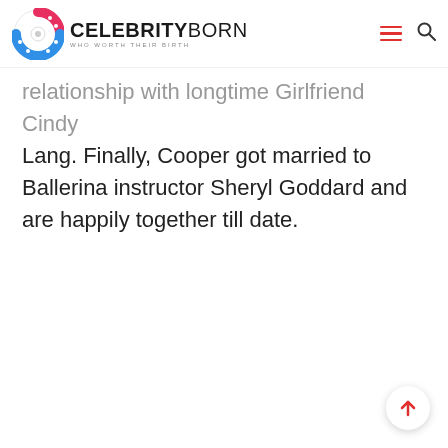CELEBRITYBORN — WHO WORTH THEIR BIRTH
relationship with longtime Girlfriend Cindy Lang. Finally, Cooper got married to Ballerina instructor Sheryl Goddard and are happily together till date.